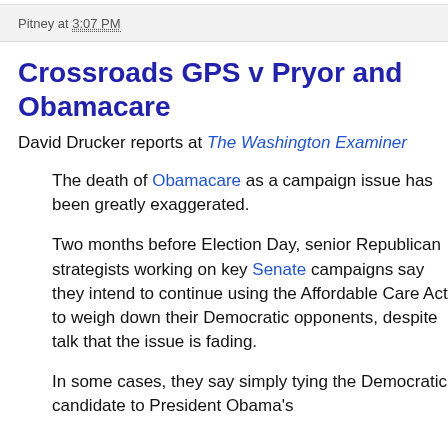Pitney at 3:07 PM
Crossroads GPS v Pryor and Obamacare
David Drucker reports at The Washington Examiner
The death of Obamacare as a campaign issue has been greatly exaggerated.
Two months before Election Day, senior Republican strategists working on key Senate campaigns say they intend to continue using the Affordable Care Act to weigh down their Democratic opponents, despite talk that the issue is fading.
In some cases, they say simply tying the Democratic candidate to President Obama's